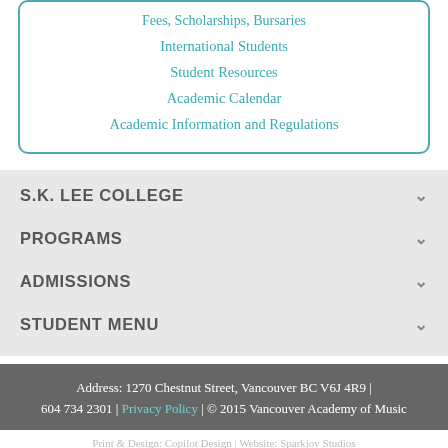Fees, Scholarships, Bursaries
International Students
Student Resources
Academic Calendar
Academic Information and Regulations
S.K. LEE COLLEGE
PROGRAMS
ADMISSIONS
STUDENT MENU
Address: 1270 Chestnut Street, Vancouver BC V6J 4R9 | 604 734 2301 | Privacy Policy | © 2015 Vancouver Academy of Music
Print & Design: Copilot Design | Website: Sparkjoy Studios